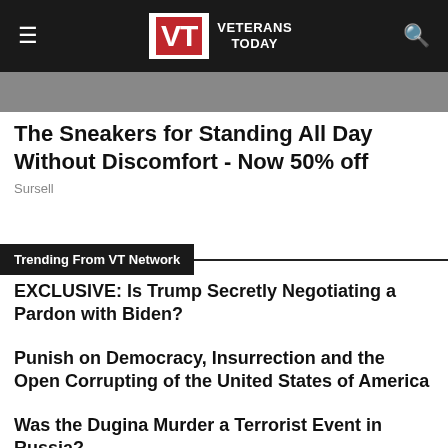Veterans Today
The Sneakers for Standing All Day Without Discomfort - Now 50% off
Sursell
Trending From VT Network
EXCLUSIVE: Is Trump Secretly Negotiating a Pardon with Biden?
Punish on Democracy, Insurrection and the Open Corrupting of the United States of America
Was the Dugina Murder a Terrorist Event in Russia?